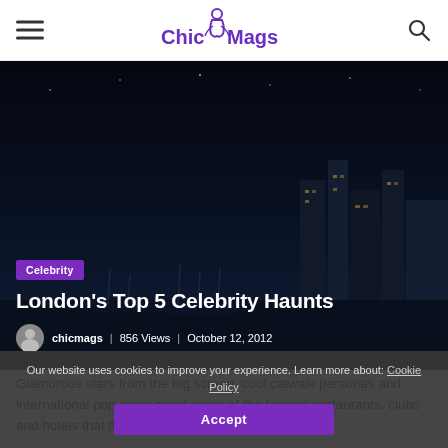Chic Mags
[Figure (photo): Night cityscape of London with dark sky, buildings and waterfront visible, used as hero background image]
Celebrity
London's Top 5 Celebrity Haunts
chicmags | 856 Views | October 12, 2012
Glamorous stars from the big screen, cool catwalk personas and international pop icons covet some of the famous restaurants, clubs and hotels that this exciting city has to offer.
Our website uses cookies to improve your experience. Learn more about: Cookie Policy
Accept